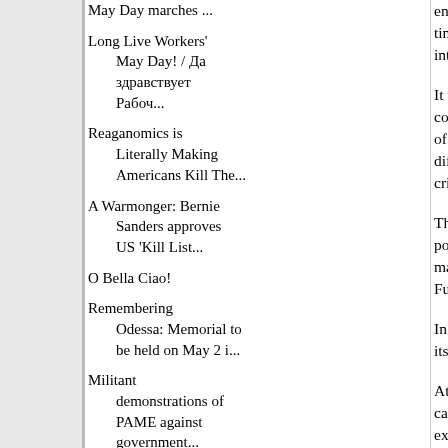May Day marches ...
Long Live Workers' May Day! / Да здравствует Рабоч...
Reaganomics is Literally Making Americans Kill The...
A Warmonger: Bernie Sanders approves US 'Kill List...
O Bella Ciao!
Remembering Odessa: Memorial to be held on May 2 i...
Militant demonstrations of PAME against government...
Greece: The Marathon Peace Rally will take
enveloped the e time delay, it al international ca
It was at that po countries of soc of capitalism; th difficulties in co crisis.
The various the point of view o markets functio Funds), the term
In other words, its monetary for
At that time KK capital had occu example. We ar of expression.
In contrast to bo necessary for a of a recession i other, the exit expanded capit deeper and mor